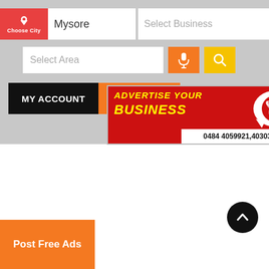[Figure (screenshot): Mobile app UI screenshot showing Choose City button, Mysore city input, Select Business input, Select Area input, microphone button, search button, MY ACCOUNT button, Post Free Ads button, an advertisement banner for business advertising with phone number 0484 4059921,4030354, a scroll-to-top button, and Post Free Ads bottom bar.]